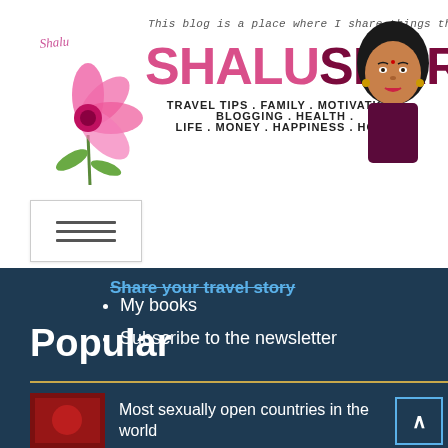[Figure (logo): ShaluSharma.com blog header with pink flower illustration, blog name in pink and maroon, tagline, topic keywords, and avatar illustration of a woman]
[Figure (illustration): Hamburger/menu toggle button with three horizontal lines]
Share your travel story (strikethrough)
My books
Subscribe to the newsletter
Popular
Most sexually open countries in the world